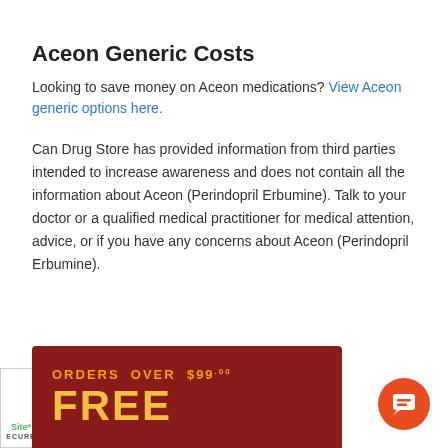Aceon Generic Costs
Looking to save money on Aceon medications? View Aceon generic options here.
Can Drug Store has provided information from third parties intended to increase awareness and does not contain all the information about Aceon (Perindopril Erbumine). Talk to your doctor or a qualified medical practitioner for medical attention, advice, or if you have any concerns about Aceon (Perindopril Erbumine).
[Figure (infographic): Dark red/maroon promotional banner with gold text reading 'ORDERS OVER $99.00 FREE'. Partial trust/security badge on far left bottom. Orange chat button on bottom right.]